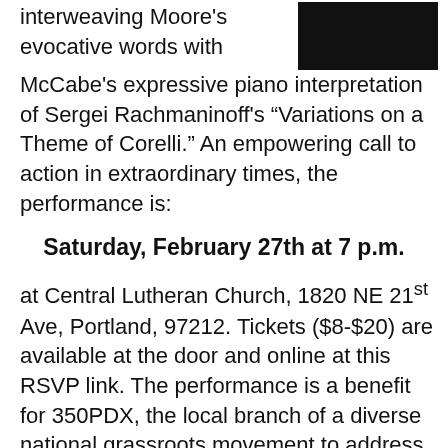[Figure (photo): Dark/black and white portrait photo of a person, partially visible at top right of page]
interweaving Moore's evocative words with McCabe's expressive piano interpretation of Sergei Rachmaninoff's “Variations on a Theme of Corelli.”  An empowering call to action in extraordinary times, the performance is:
Saturday, February 27th at 7 p.m.
at Central Lutheran Church, 1820 NE 21st Ave, Portland, 97212.  Tickets ($8-$20) are available at the door and online at this RSVP link.  The performance is a benefit for 350PDX, the local branch of a diverse national grassroots movement to address the challenge of climate change.
In this weaving of music and words, concert